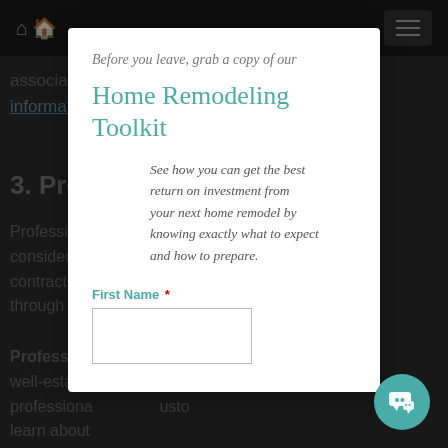associations ... ut this information
3. Profe...
Professiona ... es to consider wh ... s a contractor's ... shows through in n...
Professiona... ractors and well-establis... a professiona... usto... learn about...
Before you leave, grab a copy of our
Home Remodeling Toolkit
See how you can get the best return on investment from your next home remodel by knowing exactly what to expect and how to prepare.
First Name *